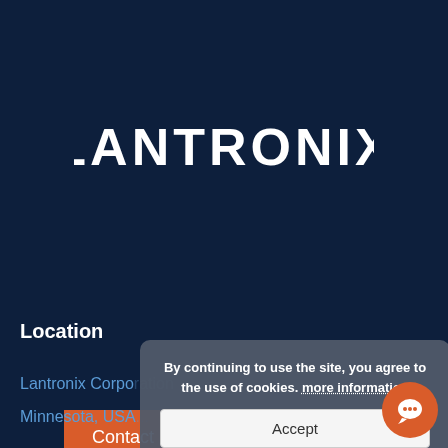[Figure (logo): Lantronix logo in white text on dark navy background]
Contact Us →
Location
Lantronix Corpo...
Minnesota, USA
By continuing to use the site, you agree to the use of cookies. more information
Accept